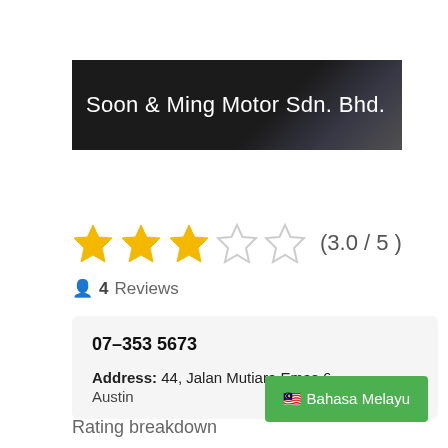[Figure (photo): Dark banner image with company name 'Soon & Ming Motor Sdn. Bhd.' overlaid in white text on dark background]
[Figure (infographic): Star rating display showing 3 out of 5 stars (3 filled gold stars, 2 empty stars) with text (3.0 / 5)]
4 Reviews
07-353 5673
Address: 44, Jalan Mutiara Emas 6, Austin
Rating breakdown